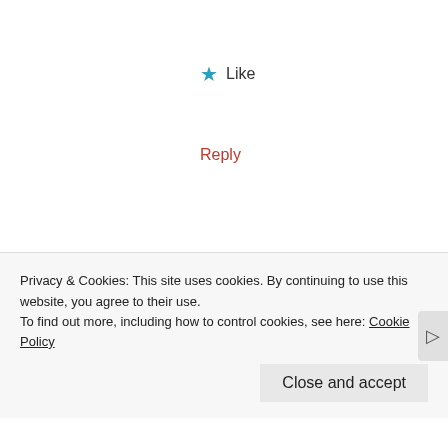★ Like
Reply
Leave a Reply
Your email address will not be published. Required fields are marked *
[Figure (other): Empty comment text area input box]
Privacy & Cookies: This site uses cookies. By continuing to use this website, you agree to their use.
To find out more, including how to control cookies, see here: Cookie Policy
Close and accept